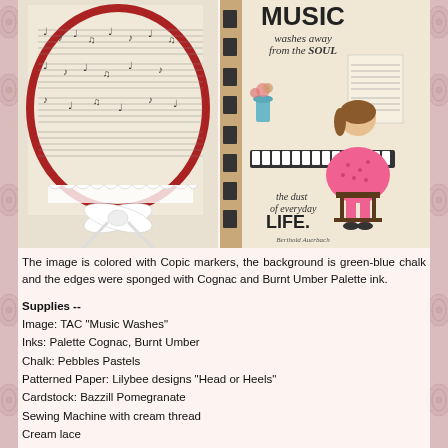[Figure (photo): Handmade craft card featuring a girl playing piano image with music sheet background, lace bow ribbon decoration, and text 'MUSIC washes away from the SOUL the dust of everyday LIFE.']
The image is colored with Copic markers, the background is green-blue chalk and the edges were sponged with Cognac and Burnt Umber Palette ink.
Supplies --
Image: TAC "Music Washes"
Inks: Palette Cognac, Burnt Umber
Chalk: Pebbles Pastels
Patterned Paper: Lilybee designs "Head or Heels"
Cardstock: Bazzill Pomegranate
Sewing Machine with cream thread
Cream lace